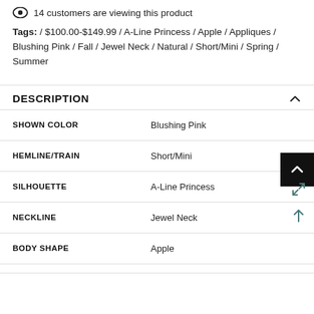14 customers are viewing this product
Tags: / $100.00-$149.99 / A-Line Princess / Apple / Appliques / Blushing Pink / Fall / Jewel Neck / Natural / Short/Mini / Spring / Summer
DESCRIPTION
| Attribute | Value |
| --- | --- |
| SHOWN COLOR | Blushing Pink |
| HEMLINE/TRAIN | Short/Mini |
| SILHOUETTE | A-Line Princess |
| NECKLINE | Jewel Neck |
| BODY SHAPE | Apple |